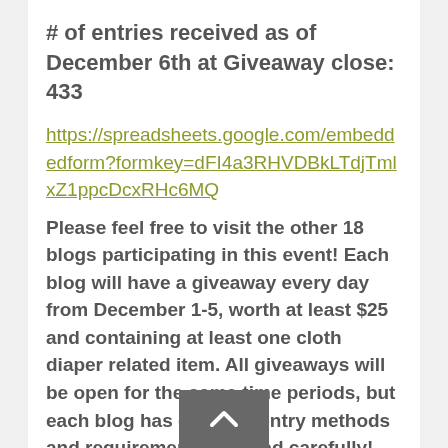# of entries received as of December 6th at Giveaway close: 433
https://spreadsheets.google.com/embeddedform?formkey=dFI4a3RHVDBkLTdjTmlxZ1ppcDcxRHc6MQ
Please feel free to visit the other 18 blogs participating in this event!  Each blog will have a giveaway every day from December 1-5, worth at least $25 and containing at least one cloth diaper related item.  All giveaways will be open for the same time periods, but each blog has different entry methods and requirements, so read carefully!